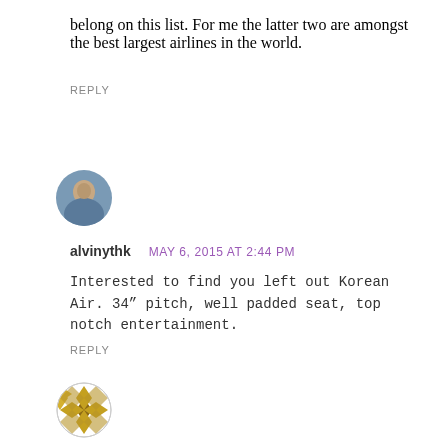belong on this list. For me the latter two are amongst the best largest airlines in the world.
REPLY
[Figure (photo): Circular avatar photo of a person (alvinythk)]
alvinythk   MAY 6, 2015 AT 2:44 PM
Interested to find you left out Korean Air. 34" pitch, well padded seat, top notch entertainment.
REPLY
[Figure (logo): Circular avatar with a gold/brown diamond lattice pattern (globe-like logo)]